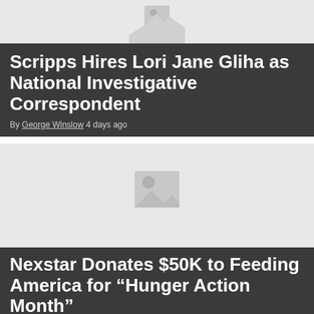[Figure (photo): Placeholder image for article 1 (grey background with image icon)]
Scripps Hires Lori Jane Gliha as National Investigative Correspondent
By George Winslow 4 days ago
[Figure (photo): Placeholder image for article 2 (grey background with image icon)]
Nexstar Donates $50K to Feeding America for “Hunger Action Month”
By George Winslow ...
[Figure (screenshot): TVTechnology advertisement banner: Find out what's happening in TV today, tomorrow, and in the future. SUBSCRIBE TODAY!]